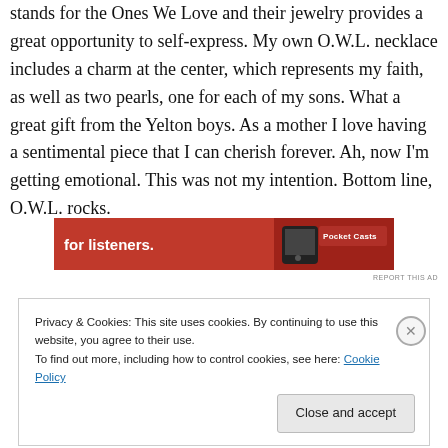stands for the Ones We Love and their jewelry provides a great opportunity to self-express. My own O.W.L. necklace includes a charm at the center, which represents my faith, as well as two pearls, one for each of my sons. What a great gift from the Yelton boys. As a mother I love having a sentimental piece that I can cherish forever. Ah, now I’m getting emotional. This was not my intention. Bottom line, O.W.L. rocks.
[Figure (other): Advertisement banner for Pocket Casts: red background with text 'for listeners.' and a phone/remote device graphic on the right with Pocket Casts branding]
REPORT THIS AD
Privacy & Cookies: This site uses cookies. By continuing to use this website, you agree to their use.
To find out more, including how to control cookies, see here: Cookie Policy
Close and accept